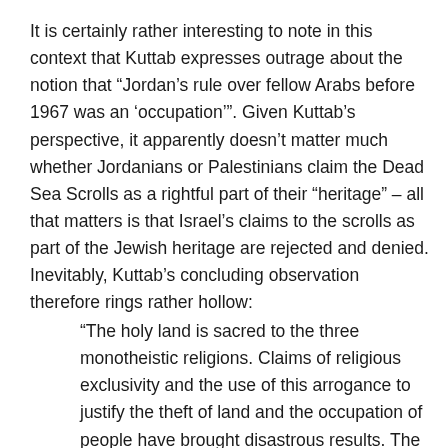It is certainly rather interesting to note in this context that Kuttab expresses outrage about the notion that “Jordan’s rule over fellow Arabs before 1967 was an ‘occupation’”. Given Kuttab’s perspective, it apparently doesn’t matter much whether Jordanians or Palestinians claim the Dead Sea Scrolls as a rightful part of their “heritage” – all that matters is that Israel’s claims to the scrolls as part of the Jewish heritage are rejected and denied. Inevitably, Kuttab’s concluding observation therefore rings rather hollow:
“The holy land is sacred to the three monotheistic religions. Claims of religious exclusivity and the use of this arrogance to justify the theft of land and the occupation of people have brought disastrous results. The sooner that we honour and recognise each other